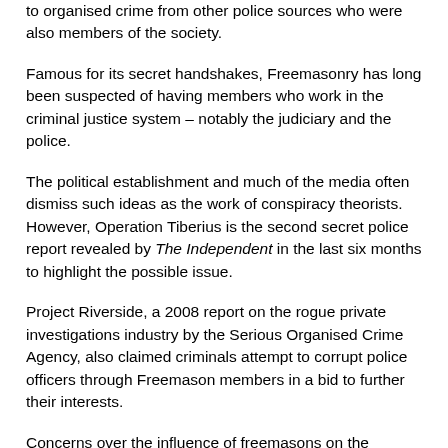to organised crime from other police sources who were also members of the society.
Famous for its secret handshakes, Freemasonry has long been suspected of having members who work in the criminal justice system – notably the judiciary and the police.
The political establishment and much of the media often dismiss such ideas as the work of conspiracy theorists. However, Operation Tiberius is the second secret police report revealed by The Independent in the last six months to highlight the possible issue.
Project Riverside, a 2008 report on the rogue private investigations industry by the Serious Organised Crime Agency, also claimed criminals attempt to corrupt police officers through Freemason members in a bid to further their interests.
Concerns over the influence of freemasons on the criminal justice system in 1998 led former Home Secretary Jack Straw to